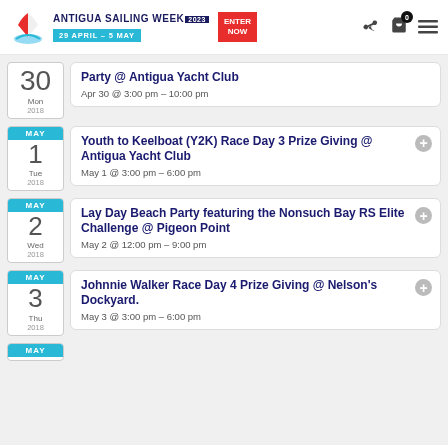Antigua Sailing Week 2023 — 29 April – 5 May | Enter Now
Party @ Antigua Yacht Club
Apr 30 @ 3:00 pm – 10:00 pm
Youth to Keelboat (Y2K) Race Day 3 Prize Giving @ Antigua Yacht Club
May 1 @ 3:00 pm – 6:00 pm
Lay Day Beach Party featuring the Nonsuch Bay RS Elite Challenge @ Pigeon Point
May 2 @ 12:00 pm – 9:00 pm
Johnnie Walker Race Day 4 Prize Giving @ Nelson's Dockyard.
May 3 @ 3:00 pm – 6:00 pm